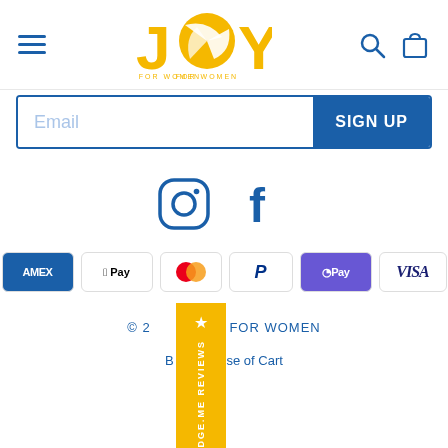JOY FOR WOMEN — navigation header with hamburger menu, logo, search and cart icons
Email — SIGN UP
[Figure (logo): Instagram icon and Facebook icon in blue]
[Figure (other): Payment method icons: Amex, Apple Pay, Mastercard, PayPal, Google Pay, Visa]
[Figure (other): Judge.me Reviews vertical yellow banner with star]
© 2024 JOY FOR WOMEN
Built by House of Cart